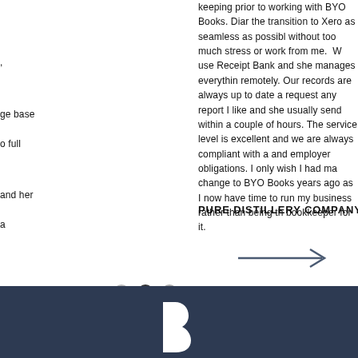keeping prior to working with BYO Books. Diar the transition to Xero as seamless as possibl without too much stress or work from me. W use Receipt Bank and she manages everythin remotely. Our records are always up to date a request any report I like and she usually send within a couple of hours. The service level is excellent and we are always compliant with a and employer obligations. I only wish I had ma change to BYO Books years ago as I now have time to run my business rather than being th bookkeeper for it.
ge base o full and her a
RAPHY
PURE DISTILLERY COMPANY – DEAN
[Figure (illustration): Right-pointing arrow in dark grey/steel blue color]
[Figure (illustration): Three navigation dots: light grey, dark grey (active), medium grey]
[Figure (logo): BYO Books logo outline in light green, partially visible in bottom right]
[Figure (logo): White BYO Books logo/icon in dark navy footer]